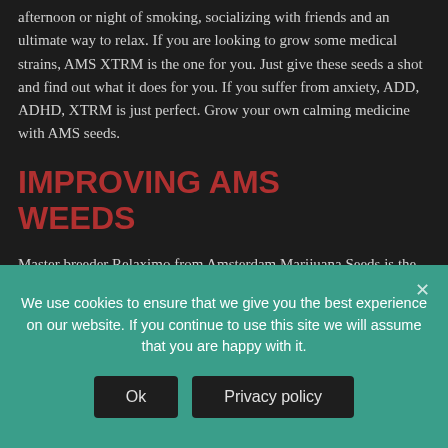afternoon or night of smoking, socializing with friends and an ultimate way to relax. If you are looking to grow some medical strains, AMS XTRM is the one for you. Just give these seeds a shot and find out what it does for you. If you suffer from anxiety, ADD, ADHD, XTRM is just perfect. Grow your own calming medicine with AMS seeds.
IMPROVING AMS WEEDS
Master breeder Relaximo from Amsterdam Marijuana Seeds is the mastermind behind AMS XTRM. As an experienced grower, Relaximo is always looking to
We use cookies to ensure that we give you the best experience on our website. If you continue to use this site we will assume that you are happy with it.